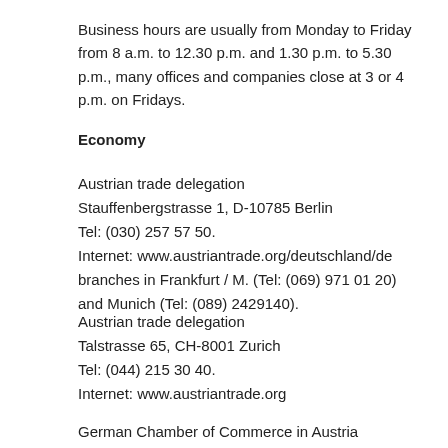Business hours are usually from Monday to Friday from 8 a.m. to 12.30 p.m. and 1.30 p.m. to 5.30 p.m., many offices and companies close at 3 or 4 p.m. on Fridays.
Economy
Austrian trade delegation
Stauffenbergstrasse 1, D-10785 Berlin
Tel: (030) 257 57 50.
Internet: www.austriantrade.org/deutschland/de
branches in Frankfurt / M. (Tel: (069) 971 01 20) and Munich (Tel: (089) 2429140).
Austrian trade delegation
Talstrasse 65, CH-8001 Zurich
Tel: (044) 215 30 40.
Internet: www.austriantrade.org
German Chamber of Commerce in Austria